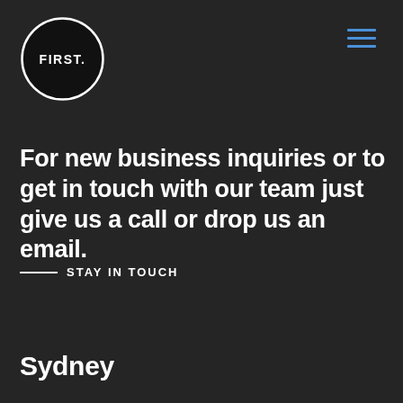[Figure (logo): FIRST. logo inside a black circle with white text]
[Figure (other): Hamburger menu icon with three horizontal blue lines]
For new business inquiries or to get in touch with our team just give us a call or drop us an email.
STAY IN TOUCH
Sydney